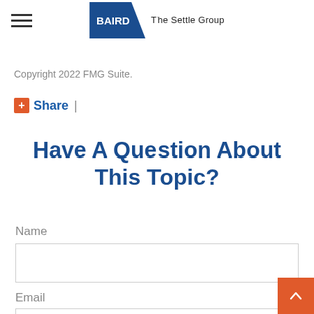BAIRD The Settle Group
Copyright 2022 FMG Suite.
Share |
Have A Question About This Topic?
Name
Email